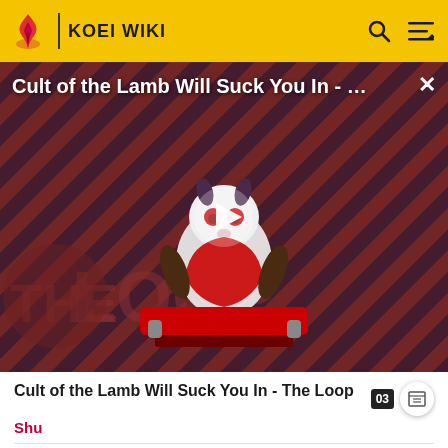KOEI WIKI
[Figure (screenshot): Video thumbnail for 'Cult of the Lamb Will Suck You In - The Loop' showing a cartoon lamb character with red eyes on a striped red and black background with 'THE LOOP' text overlay and a play button.]
Cult of the Lamb Will Suck You In - The Loop
Shu
Zhao Yun • Guan Yu • Zhang Fei • Zhuge Liang • Liu Bei • Ma Chao • Huang Zhong • Jiang Wei • Wei Yan • Pang Tong • Yueying • Guan Ping • Xingcai • Liu Shan • Ma Dai • Guan Suo •